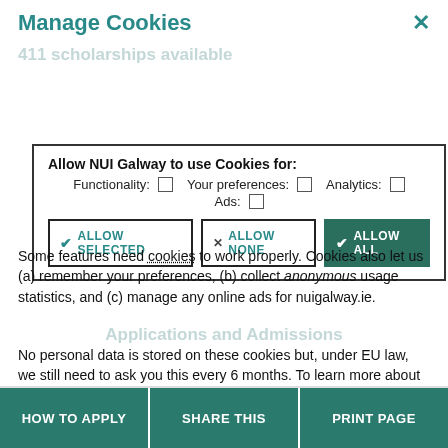Manage Cookies
✕
[Figure (screenshot): Cookie consent dialog with checkboxes for Functionality, Your preferences, Analytics, Ads, and three buttons: Allow Selected, Allow None, Allow All]
Some features need cookies to work properly. Cookies also let us (a) remember your preferences, (b) collect anonymous usage statistics, and (c) manage any online ads for nuigalway.ie.
No personal data is stored on these cookies but, under EU law, we still need to ask you this every 6 months. To learn more about our use of cookies, view our Privacy Policy.
HOW TO APPLY   SHARE THIS   PRINT PAGE